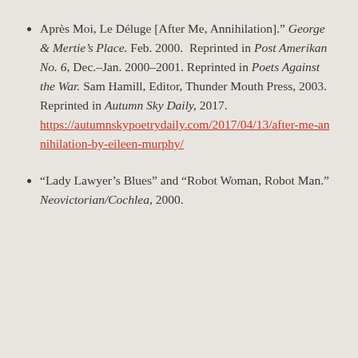Après Moi, Le Déluge [After Me, Annihilation]." George & Mertie's Place. Feb. 2000.  Reprinted in Post Amerikan No. 6, Dec.–Jan. 2000–2001. Reprinted in Poets Against the War. Sam Hamill, Editor, Thunder Mouth Press, 2003. Reprinted in Autumn Sky Daily, 2017. https://autumnskypoetrydaily.com/2017/04/13/after-me-annihilation-by-eileen-murphy/
"Lady Lawyer's Blues" and "Robot Woman, Robot Man." Neovictorian/Cochlea, 2000.